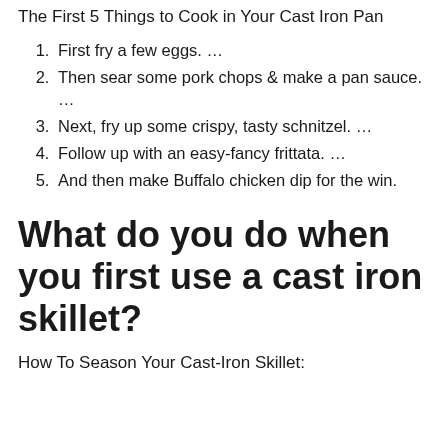The First 5 Things to Cook in Your Cast Iron Pan
First fry a few eggs. …
Then sear some pork chops & make a pan sauce. …
Next, fry up some crispy, tasty schnitzel. …
Follow up with an easy-fancy frittata. …
And then make Buffalo chicken dip for the win.
What do you do when you first use a cast iron skillet?
How To Season Your Cast-Iron Skillet: